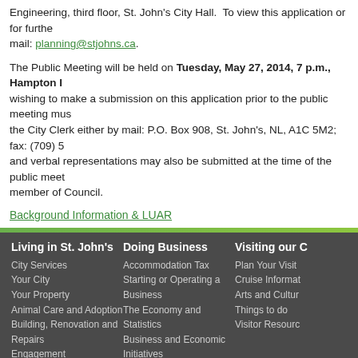Engineering, third floor, St. John's City Hall.  To view this application or for further information, e-mail: planning@stjohns.ca.
The Public Meeting will be held on Tuesday, May 27, 2014, 7 p.m., Hampton Inn. Anyone wishing to make a submission on this application prior to the public meeting must submit same to the City Clerk either by mail: P.O. Box 908, St. John's, NL, A1C 5M2; fax: (709) 5... Written and verbal representations may also be submitted at the time of the public meeting before a member of Council.
Background Information & LUAR
Living in St. John's
City Services
Your City
Your Property
Animal Care and Adoption
Building, Renovation and Repairs
Engagement
Fire and Emergency Services
Streets, Traffic and Parking
Recreation and Parks
Arts and Culture
Newcomers
Students
Events and Festivals
Doing Business
Accommodation Tax
Starting or Operating a Business
The Economy and Statistics
Business and Economic Initiatives
Business Resources
Forms and Applications
Publications
Business Information Centre
Tenders
Visiting our City
Plan Your Visit
Cruise Information
Arts and Culture
Things to do
Visitor Resources